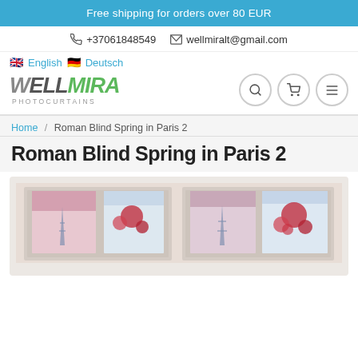Free shipping for orders over 80 EUR
📞 +37061848549  ✉ wellmiralt@gmail.com
🇬🇧 English  🇩🇪 Deutsch
[Figure (logo): WellMira Photocurtains logo with navigation icons (search, cart, menu)]
Home / Roman Blind Spring in Paris 2
Roman Blind Spring in Paris 2
[Figure (photo): Product photo of Roman Blind Spring in Paris 2 — two roman blinds on windows showing Eiffel Tower with red blossoms]